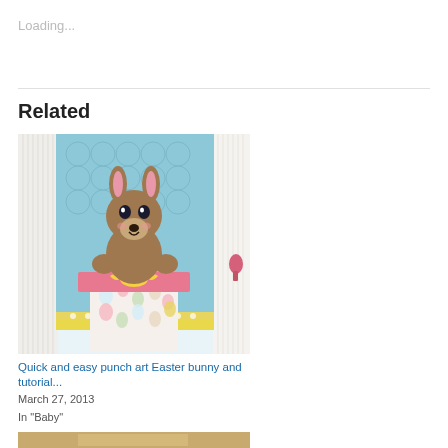Loading...
Related
[Figure (photo): Handmade punch art Easter bunny card — a cute brown bunny with pink ears sits in a polka-dot Easter basket with a yellow bow, set against a blue patterned background with striped borders.]
Quick and easy punch art Easter bunny and tutorial...
March 27, 2013
In "Baby"
[Figure (photo): Partial view of a second related post image, partially cut off at the bottom of the page.]